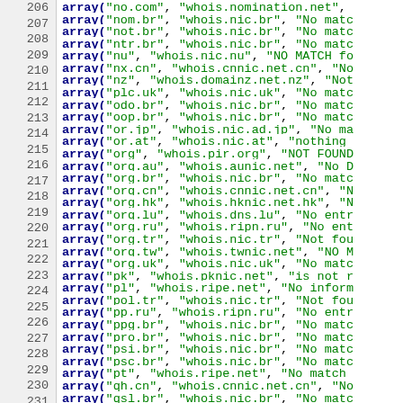Code listing showing array entries 206-238 with domain names and whois servers